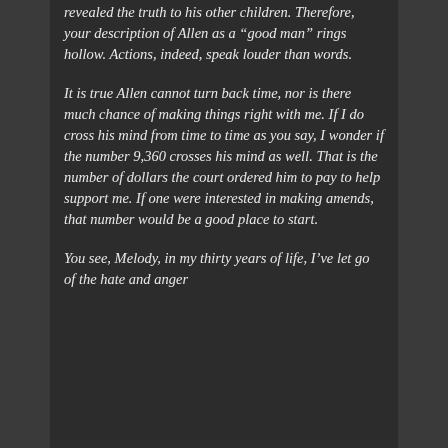revealed the truth to his other children. Therefore, your description of Allen as a “good man” rings hollow. Actions, indeed, speak louder than words.
It is true Allen cannot turn back time, nor is there much chance of making things right with me. If I do cross his mind from time to time as you say, I wonder if the number 9,360 crosses his mind as well. That is the number of dollars the court ordered him to pay to help support me. If one were interested in making amends, that number would be a good place to start.
You see, Melody, in my thirty years of life, I’ve let go of the hate and anger